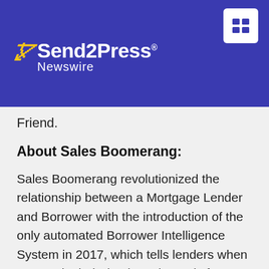[Figure (logo): Send2Press Newswire logo with yellow lightning bolt and white text on dark blue header bar]
Friend.
About Sales Boomerang:
Sales Boomerang revolutionized the relationship between a Mortgage Lender and Borrower with the introduction of the only automated Borrower Intelligence System in 2017, which tells lenders when anyone in their database is ready for a loan. Today, Sales Boomerang is the #1 Borrower Retention strategy in the industry and has discovered over $30B in new volume for Lenders. Sales Boomerang's notifications